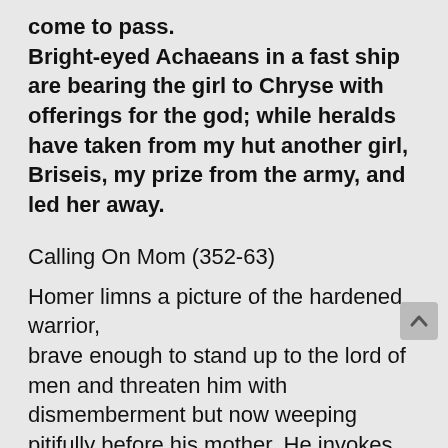come to pass.
Bright-eyed Achaeans in a fast ship are bearing the girl to Chryse with offerings for the god; while heralds have taken from my hut another girl, Briseis, my prize from the army, and led her away.
Calling On Mom (352-63)
Homer limns a picture of the hardened warrior, brave enough to stand up to the lord of men and threaten him with dismemberment but now weeping pitifully before his mother. He invokes her with words that assume that he has a steady or regular...